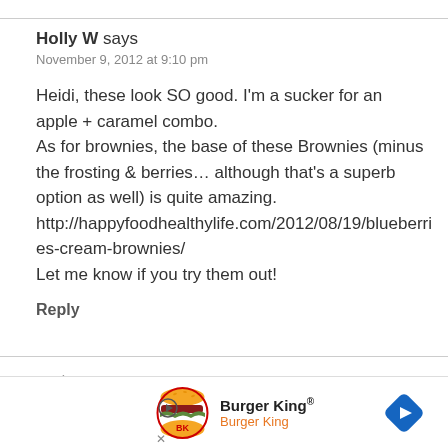Holly W says
November 9, 2012 at 9:10 pm
Heidi, these look SO good. I'm a sucker for an apple + caramel combo.
As for brownies, the base of these Brownies (minus the frosting & berries… although that's a superb option as well) is quite amazing. http://happyfoodhealthylife.com/2012/08/19/blueberries-cream-brownies/
Let me know if you try them out!
Reply
maria
Decemb
[Figure (other): Burger King advertisement banner with logo, brand name 'Burger King®', subtext 'Burger King', navigation arrow icon, play button, and close X button]